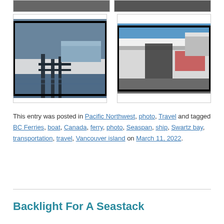[Figure (photo): Two partially visible photo thumbnails at the top of the page showing ferry/boat scenes]
[Figure (photo): Photo of a ferry dock at dusk or dawn with metal structures and a ferry boat visible]
[Figure (photo): Photo of large ships or ferries docked closely together, with white hull and red branding visible]
This entry was posted in Pacific Northwest, photo, Travel and tagged BC Ferries, boat, Canada, ferry, photo, Seaspan, ship, Swartz bay, transportation, travel, Vancouver island on March 11, 2022.
Backlight For A Seastack